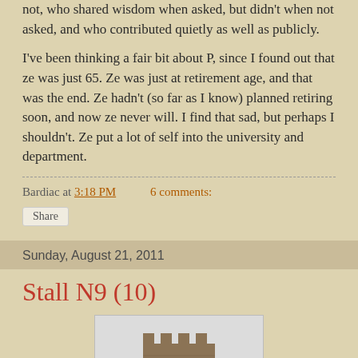not, who shared wisdom when asked, but didn't when not asked, and who contributed quietly as well as publicly.
I've been thinking a fair bit about P, since I found out that ze was just 65. Ze was just at retirement age, and that was the end. Ze hadn't (so far as I know) planned retiring soon, and now ze never will. I find that sad, but perhaps I shouldn't. Ze put a lot of self into the university and department.
Bardiac at 3:18 PM    6 comments:
Share
Sunday, August 21, 2011
Stall N9 (10)
[Figure (photo): Photo of a stone church or castle tower against a pale sky, showing crenellated battlements at the top.]